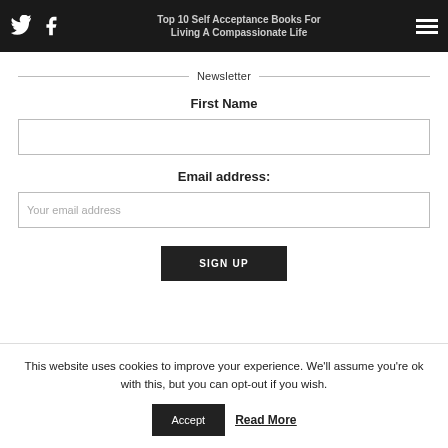Top 10 Self Acceptance Books For Living A Compassionate Life
Newsletter
First Name
Email address:
Your email address
SIGN UP
This website uses cookies to improve your experience. We'll assume you're ok with this, but you can opt-out if you wish.
Accept
Read More